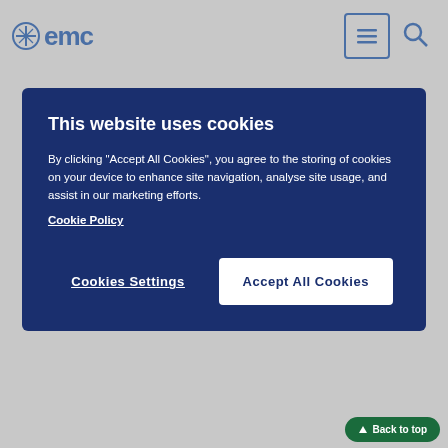emc
[Figure (screenshot): Cookie consent overlay with dark blue background. Title: 'This website uses cookies'. Body text about storing cookies. Links: Cookie Policy. Buttons: Cookies Settings, Accept All Cookies.]
Commonly used antihypertensive agents (e.g. alpha blockers, diuretics) and other medicinal products which may cause hypotensive adverse effects (e.g. tricyclic antidepressants, alpha blockers for treatment of benign prostate hyperplasia) may increase the antihypertensive effect of the combination.
Interactions linked to amlodipine
Concomitant use not recommended
Grapefruit or grapefruit juice
Administration of amlodipine with grapefruit or grapefruit juice is not recommended as bioavailability may be increased in some patients